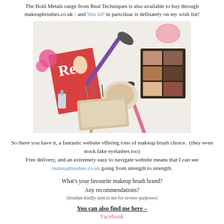The Bold Metals range from Real Techniques is also available to buy through makeupbrushes.co.uk - and 'this kit' in partciluar is definately on my wish list!
[Figure (photo): Photo of makeup brushes, a Red magazine, eyeshadow palette, and other makeup products arranged on a white surface]
So there you have it, a fantastic website offering tons of makeup brush choice.  (they even stock fake eyelashes too)
Free delivery, and an extremely easy to navigate website means that I can see makeupbrushes.co.uk going from strength to strength.
What's your favourite makeup brush brand?
Any recommendations?
(brushes kindly sent to me for review purposes)
You can also find me here –
Facebook